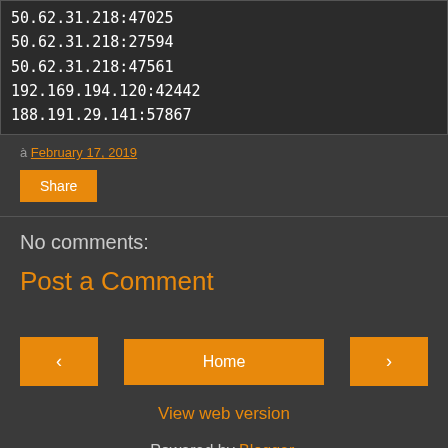50.62.31.218:47025
50.62.31.218:27594
50.62.31.218:47561
192.169.194.120:42442
188.191.29.141:57867
à February 17, 2019
Share
No comments:
Post a Comment
‹
Home
›
View web version
Powered by Blogger.